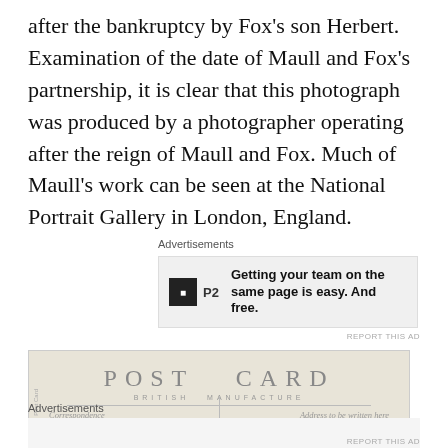after the bankruptcy by Fox's son Herbert. Examination of the date of Maull and Fox's partnership, it is clear that this photograph was produced by a photographer operating after the reign of Maull and Fox. Much of Maull's work can be seen at the National Portrait Gallery in London, England.
Advertisements
[Figure (other): Advertisement banner: P2 logo with text 'Getting your team on the same page is easy. And free.']
[Figure (photo): Back of a POST CARD labeled 'BRITISH MANUFACTURE' with fields for Correspondence and Address to be written here, divided by a vertical line.]
Advertisements